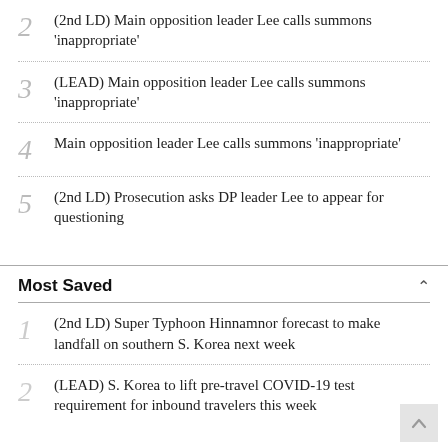2  (2nd LD) Main opposition leader Lee calls summons 'inappropriate'
3  (LEAD) Main opposition leader Lee calls summons 'inappropriate'
4  Main opposition leader Lee calls summons 'inappropriate'
5  (2nd LD) Prosecution asks DP leader Lee to appear for questioning
Most Saved
1  (2nd LD) Super Typhoon Hinnamnor forecast to make landfall on southern S. Korea next week
2  (LEAD) S. Korea to lift pre-travel COVID-19 test requirement for inbound travelers this week